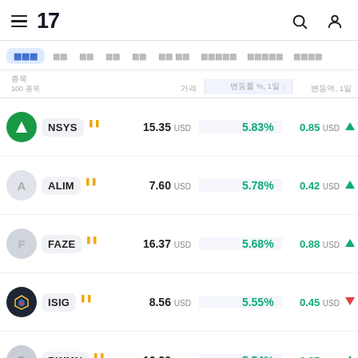[Figure (logo): TradingView logo with hamburger menu, search and user icons]
Tab bar with filter options: selected tab (squares icon), and multiple other tabs with Korean text labels
| 종목 / 100 종목 | 가격 | 변동률 %, 1일 ↓ | 변동액, 1일 |
| --- | --- | --- | --- |
| NSYS | 15.35 USD | 5.83% | 0.85 USD |
| ALIM | 7.60 USD | 5.78% | 0.42 USD |
| FAZE | 16.37 USD | 5.68% | 0.88 USD |
| ISIG | 8.56 USD | 5.55% | 0.45 USD |
| BWMN | 16.20 USD | 5.54% | 0.85 USD |
| PCTI | 5.18 USD | 5.50% | 0.27 USD |